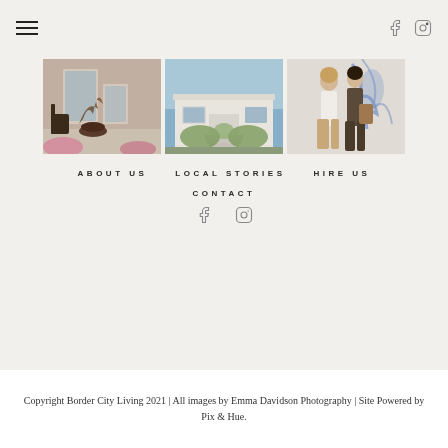Follow Along
@BORDERCITYLIVING
[Figure (photo): Three Instagram-style photos: a porch with plants, a white modern house exterior, and two women looking at a mural]
ABOUT US
LOCAL STORIES
HIRE US
CONTACT
[Figure (other): Facebook and Instagram social icons]
Copyright Border City Living 2021 | All images by Emma Davidson Photography | Site Powered by Pix & Hue.